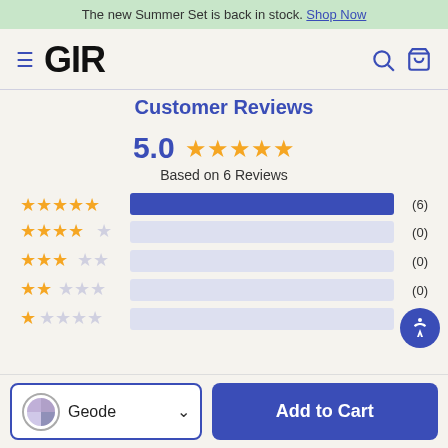The new Summer Set is back in stock. Shop Now
[Figure (logo): GIR logo with hamburger menu, search and cart icons]
Customer Reviews
5.0 ★★★★★ Based on 6 Reviews
[Figure (bar-chart): Rating distribution]
Geode  Add to Cart